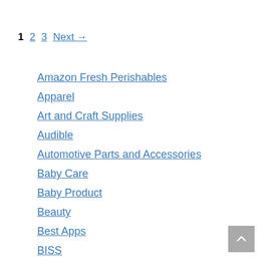1  2  3  Next →
Amazon Fresh Perishables
Apparel
Art and Craft Supplies
Audible
Automotive Parts and Accessories
Baby Care
Baby Product
Beauty
Best Apps
BISS